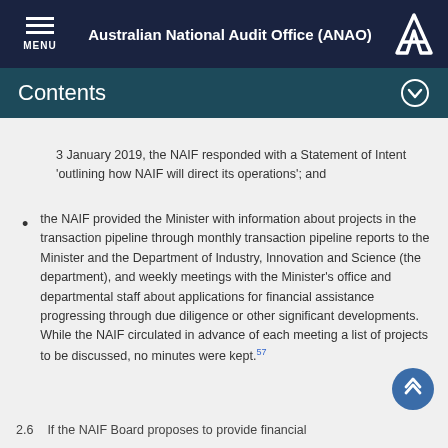Australian National Audit Office (ANAO)
Contents
3 January 2019, the NAIF responded with a Statement of Intent 'outlining how NAIF will direct its operations'; and
the NAIF provided the Minister with information about projects in the transaction pipeline through monthly transaction pipeline reports to the Minister and the Department of Industry, Innovation and Science (the department), and weekly meetings with the Minister's office and departmental staff about applications for financial assistance progressing through due diligence or other significant developments. While the NAIF circulated in advance of each meeting a list of projects to be discussed, no minutes were kept.57
2.6  If the NAIF Board proposes to provide financial